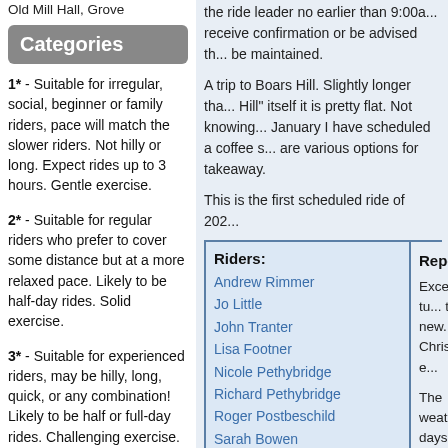Old Mill Hall, Grove
Categories
1* - Suitable for irregular, social, beginner or family riders, pace will match the slower riders. Not hilly or long. Expect rides up to 3 hours. Gentle exercise.
2* - Suitable for regular riders who prefer to cover some distance but at a more relaxed pace. Likely to be half-day rides. Solid exercise.
3* - Suitable for experienced riders, may be hilly, long, quick, or any combination! Likely to be half or full-day rides. Challenging exercise.
4* - Suitable for athletic
the ride leader no earlier than 9:00a... receive confirmation or be advised th... be maintained.
A trip to Boars Hill. Slightly longer tha... Hill" itself it is pretty flat. Not knowing... January I have scheduled a coffee s... are various options for takeaway.
This is the first scheduled ride of 202...
| Riders: | Report: |
| --- | --- |
| Andrew Rimmer | Excellent tu... |
| Jo Little | those new... |
| John Tranter | Christmas e... |
| Lisa Footner |  |
| Nicole Pethybridge | The weathe... |
| Richard Pethybridge | days before... |
| Roger Postbeschild | back before... |
| Sarah Bowen |  |
| Sharon Bedford | We all mad... |
| Riders = 9 | several con... and enjoye... |
came out to order for the photos. We... Lane before meandering to Abingdo...